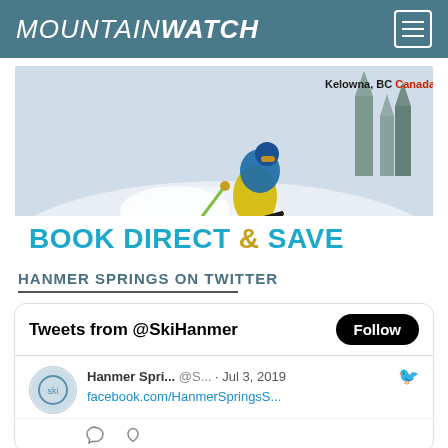MOUNTAINWATCH
[Figure (photo): Skier in powder snow with text overlay 'Kelowna, BC Canada' and 'BOOK DIRECT & SAVE' advertisement banner]
HANMER SPRINGS ON TWITTER
Tweets from @SkiHanmer
Hanmer Spri... @S... · Jul 3, 2019
facebook.com/HanmerSpringsS...